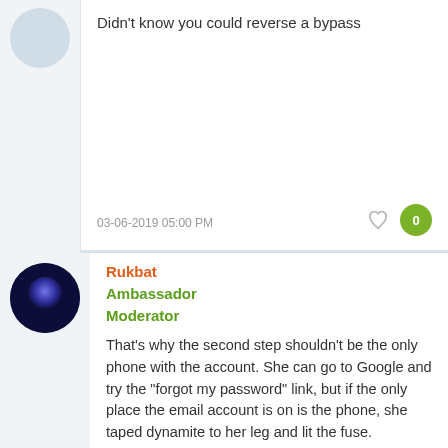Didn't know you could reverse a bypass
03-06-2019 05:00 PM
Rukbat
Ambassador
Moderator
That's why the second step shouldn't be the only phone with the account. She can go to Google and try the "forgot my password" link, but if the only place the email account is on is the phone, she taped dynamite to her leg and lit the fuse.
As Almeuit said, Google is about the only place that might be able to help her. In the future, don't have the phone using the account as the second step and the only place the account's email goes.